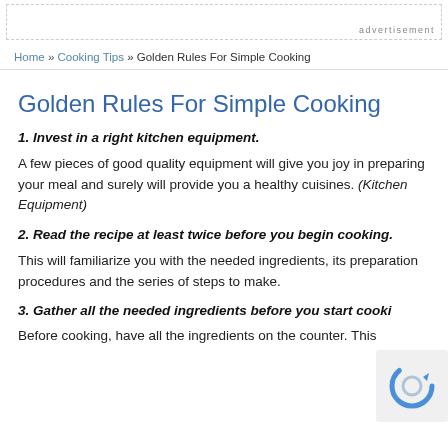advertisement
Home » Cooking Tips » Golden Rules For Simple Cooking
Golden Rules For Simple Cooking
1. Invest in a right kitchen equipment.
A few pieces of good quality equipment will give you joy in preparing your meal and surely will provide you a healthy cuisines. (Kitchen Equipment)
2. Read the recipe at least twice before you begin cooking.
This will familiarize you with the needed ingredients, its preparation procedures and the series of steps to make.
3. Gather all the needed ingredients before you start cooking.
Before cooking, have all the ingredients on the counter. This